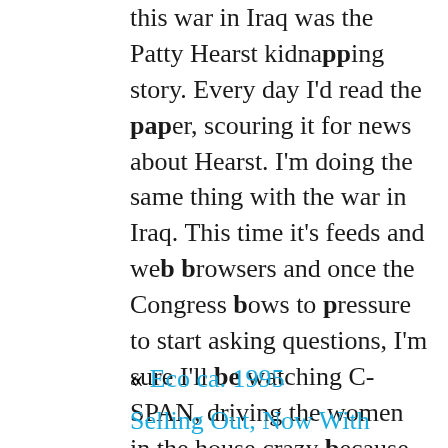this war in Iraq was the Patty Hearst kidnapping story. Every day I'd read the paper, scouring it for news about Hearst. I'm doing the same thing with the war in Iraq. This time it's feeds and web browsers and once the Congress bows to pressure to start asking questions, I'm sure I'll be watching C-SPAN, driving the women in the house crazy because Leta has Elmo to stay caught up with and Heather starts screaming at the TV when the liars open their mouths.
« Eco ca. 1995
Selling Out, Now With More Sellouty Goodness Than Ever »